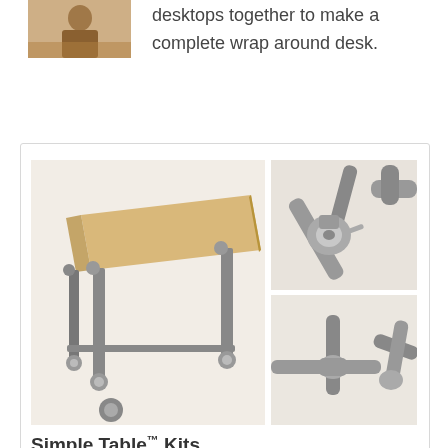[Figure (photo): Small thumbnail image of a person at a desk, partially visible at top left]
desktops together to make a complete wrap around desk.
[Figure (photo): Product photo collage of a Simple Table kit with metal pipe legs and casters, wooden top, showing full table view on left, close-up of caster wheel top right, and close-up of pipe connector bottom right]
Simple Table™ Kits